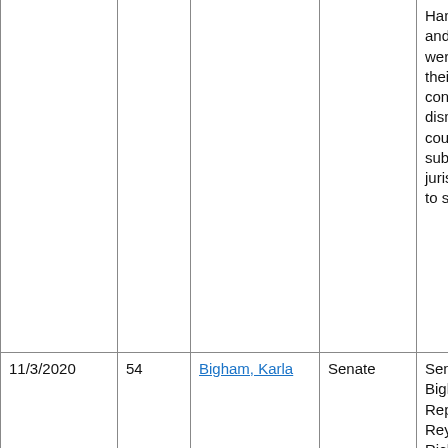| Date | No. | Name | Body | Description |
| --- | --- | --- | --- | --- |
|  |  |  |  | Hanson, Bierman, and Huot's elections were contested by their opponents. The contests were dismissed by the courts for lack of subject-matter jurisdiction and failure to state a claim. |
| 11/3/2020 | 54 | Bigham, Karla | Senate | Senators Klein, Bigham, Clausen, and Representatives Reyer, Hansen, Richardon, Hanson, Bierman, and Huot's |